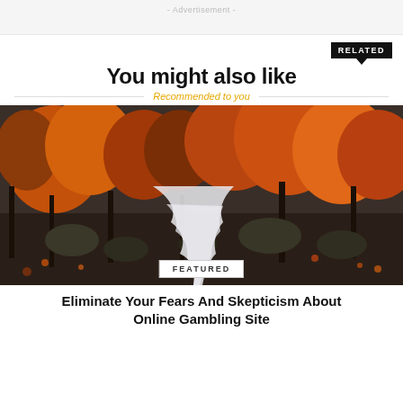- Advertisement -
RELATED
You might also like
Recommended to you
[Figure (photo): Autumn forest scene with a rocky stream flowing through trees with orange and red foliage]
FEATURED
Eliminate Your Fears And Skepticism About Online Gambling Site